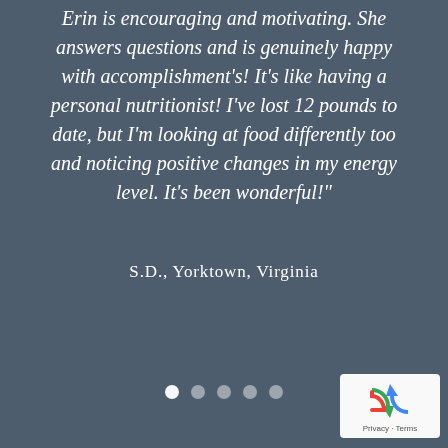Erin is encouraging and motivating. She answers questions and is genuinely happy with accomplishment's! It's like having a personal nutritionist! I've lost 12 pounds to date, but I'm looking at food differently too and noticing positive changes in my energy level. It's been wonderful!"
S.D., Yorktown, Virginia
[Figure (other): Carousel navigation dots — five circles, first one filled/active, remaining four semi-transparent]
[Figure (logo): Google reCAPTCHA badge with recycling-arrow icon and Privacy · Terms text]